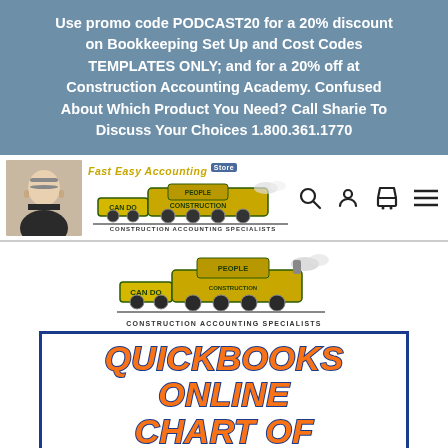Use promo code PODCAST20 for a 20% discount on Bookkeeping Set Up and Cost Codes TEMPLATES ONLY; and for a 20% off at Construction Accounting Academy. Confused About Which Product You Need? Call Sharie To Discuss Your Choices 1.800.361.1770
[Figure (logo): Fast Easy Accounting Store logo with man photo and train graphic, Construction Accounting Specialists]
[Figure (logo): Construction Accounting Specialists train logo - CAN DO PEOPLE train]
QUICKBOOKS ONLINE CHART OF ACCOUNTS